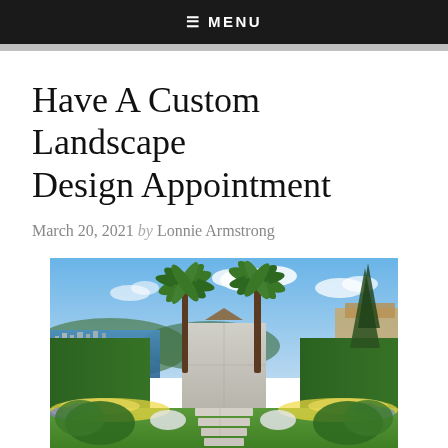≡ MENU
Have A Custom Landscape Design Appointment
March 20, 2021 by Lonnie Armstrong
[Figure (photo): Rendered landscape design of a Mediterranean-style garden with palm trees, a concrete wall feature, manicured hedges, colorful flower beds, and a stepping stone path leading through green lawn, with a coastal town and water visible in the background under a blue sky with clouds.]